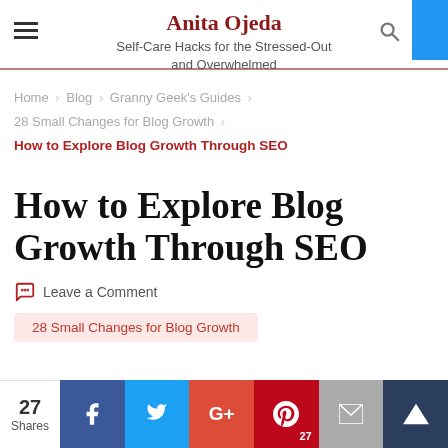Anita Ojeda — Self-Care Hacks for the Stressed-Out and Overwhelmed
Home > Blog > Granny Geek's Guides > 28 Small Changes for Blog Growth > How to Explore Blog Growth Through SEO
How to Explore Blog Growth Through SEO
Leave a Comment
28 Small Changes for Blog Growth
27 Shares